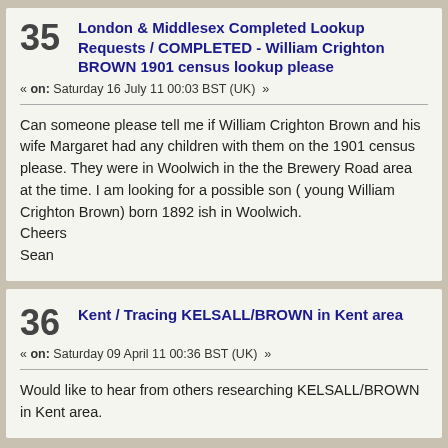35 London & Middlesex Completed Lookup Requests / COMPLETED - William Crighton BROWN 1901 census lookup please
« on: Saturday 16 July 11 00:03 BST (UK) »
Can someone please tell me if William Crighton Brown and his wife Margaret had any children with them on the 1901 census please. They were in Woolwich in the the Brewery Road area at the time. I am looking for a possible son ( young William Crighton Brown) born 1892 ish in Woolwich. Cheers Sean
36 Kent / Tracing KELSALL/BROWN in Kent area
« on: Saturday 09 April 11 00:36 BST (UK) »
Would like to hear from others researching KELSALL/BROWN in Kent area.